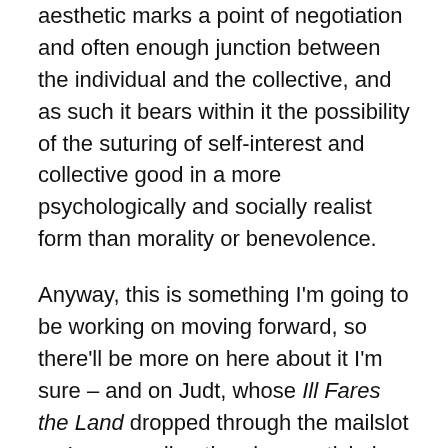aesthetic marks a point of negotiation and often enough junction between the individual and the collective, and as such it bears within it the possibility of the suturing of self-interest and collective good in a more psychologically and socially realist form than morality or benevolence.
Anyway, this is something I'm going to be working on moving forward, so there'll be more on here about it I'm sure – and on Judt, whose Ill Fares the Land dropped through the mailslot as I was reading the above article in the Guardian. I'm sending my first book off for peer review today or Monday, and so it's time to open up new research. And I gave my blog-derived paper that might be the start of a new book on social democracy and aesthetics for a second time in two weeks last night – this time to a management / marketting department which was interesting and appropriate, as it's exactly the wisdom of